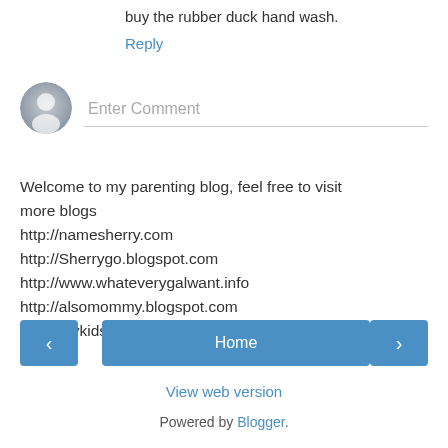buy the rubber duck hand wash.
Reply
[Figure (other): User avatar placeholder - grey circle with person silhouette icon]
Enter Comment
Welcome to my parenting blog, feel free to visit more blogs
http://namesherry.com
http://Sherrygo.blogspot.com
http://www.whateverygalwant.info
http://alsomommy.blogspot.com
http://mykidshopping.blogspot.com
< Home >
View web version
Powered by Blogger.